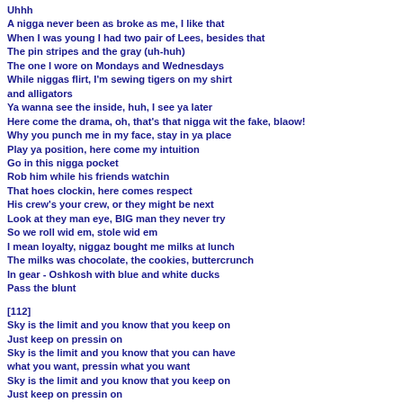Uhhh
A nigga never been as broke as me, I like that
When I was young I had two pair of Lees, besides that
The pin stripes and the gray (uh-huh)
The one I wore on Mondays and Wednesdays
While niggas flirt, I'm sewing tigers on my shirt and alligators
Ya wanna see the inside, huh, I see ya later
Here come the drama, oh, that's that nigga wit the fake, blaow!
Why you punch me in my face, stay in ya place
Play ya position, here come my intuition
Go in this nigga pocket
Rob him while his friends watchin
That hoes clockin, here comes respect
His crew's your crew, or they might be next
Look at they man eye, BIG man they never try
So we roll wid em, stole wid em
I mean loyalty, niggaz bought me milks at lunch
The milks was chocolate, the cookies, buttercrunch
In gear - Oshkosh with blue and white ducks
Pass the blunt

[112]
Sky is the limit and you know that you keep on
Just keep on pressin on
Sky is the limit and you know that you can have what you want, pressin what you want
Sky is the limit and you know that you keep on
Just keep on pressin on